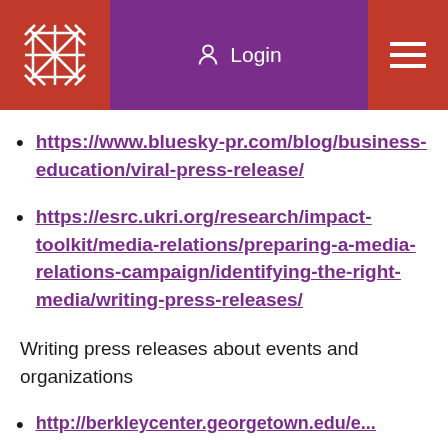Login
https://www.bluesky-pr.com/blog/business-education/viral-press-release/
https://esrc.ukri.org/research/impact-toolkit/media-relations/preparing-a-media-relations-campaign/identifying-the-right-media/writing-press-releases/
Writing press releases about events and organizations
http://berkleycenter.georgetown.edu/...